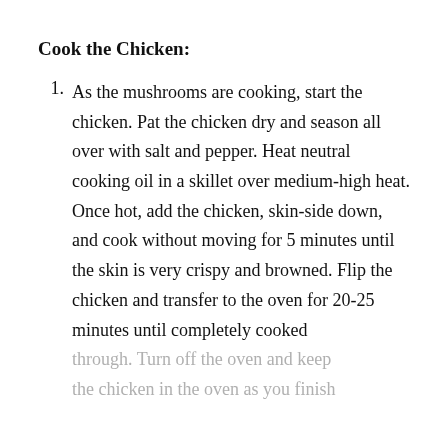Cook the Chicken:
As the mushrooms are cooking, start the chicken. Pat the chicken dry and season all over with salt and pepper. Heat neutral cooking oil in a skillet over medium-high heat. Once hot, add the chicken, skin-side down, and cook without moving for 5 minutes until the skin is very crispy and browned. Flip the chicken and transfer to the oven for 20-25 minutes until completely cooked through. Turn off the oven and keep the chicken in the oven as you finish